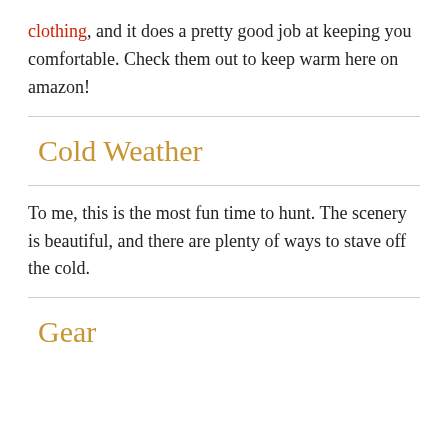clothing, and it does a pretty good job at keeping you comfortable. Check them out to keep warm here on amazon!
Cold Weather
To me, this is the most fun time to hunt. The scenery is beautiful, and there are plenty of ways to stave off the cold.
Gear